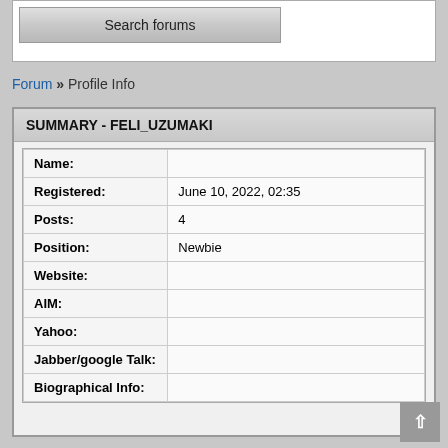[Figure (screenshot): Search forums button at top of page]
Forum » Profile Info
| Name: |  |
| Registered: | June 10, 2022, 02:35 |
| Posts: | 4 |
| Position: | Newbie |
| Website: |  |
| AIM: |  |
| Yahoo: |  |
| Jabber/google Talk: |  |
| Biographical Info: |  |